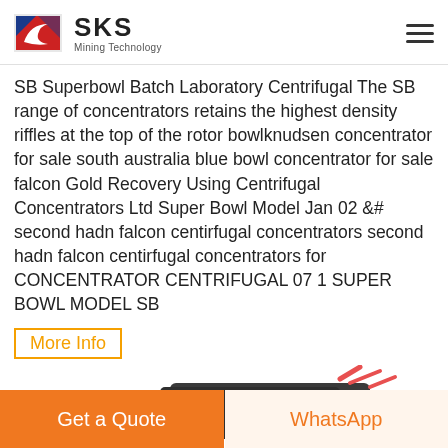SKS Mining Technology
SB Superbowl Batch Laboratory Centrifugal The SB range of concentrators retains the highest density riffles at the top of the rotor bowlknudsen concentrator for sale south australia blue bowl concentrator for sale falcon Gold Recovery Using Centrifugal Concentrators Ltd Super Bowl Model Jan 02 &# second hadn falcon centirfugal concentrators second hadn falcon centirfugal concentrators for CONCENTRATOR CENTRIFUGAL 07 1 SUPER BOWL MODEL SB
More Info
[Figure (photo): Partial view of a mining equipment product (centrifugal concentrator) showing a dark industrial machine component with red/pink detail parts visible at the top of the image, cropped at the bottom of the page.]
Get a Quote
WhatsApp